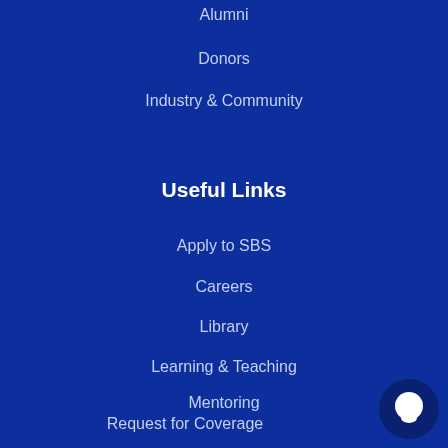Alumni
Donors
Industry & Community
Useful Links
Apply to SBS
Careers
Library
Learning & Teaching
Mentoring
Request for Coverage
Surveys
Privacy Policy